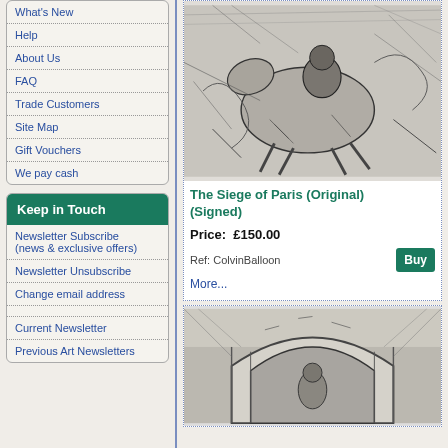What's New
Help
About Us
FAQ
Trade Customers
Site Map
Gift Vouchers
We pay cash
Keep in Touch
Newsletter Subscribe (news & exclusive offers)
Newsletter Unsubscribe
Change email address
Current Newsletter
Previous Art Newsletters
[Figure (illustration): Black and white ink illustration showing a dramatic battle scene with horses and riders during the Siege of Paris]
The Siege of Paris (Original) (Signed)
Price:  £150.00
Ref: ColvinBalloon
More...
[Figure (illustration): Black and white ink illustration showing a figure beneath an arched structure or gateway]